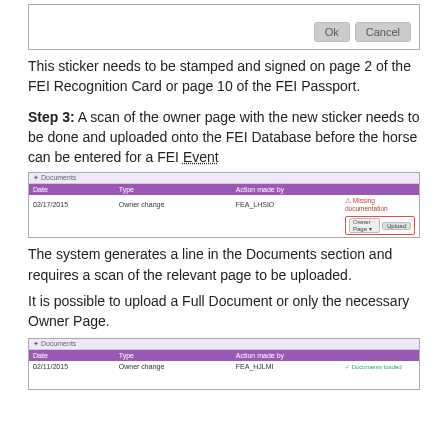[Figure (screenshot): Dialog box with Ok and Cancel buttons]
This sticker needs to be stamped and signed on page 2 of the FEI Recognition Card or page 10 of the FEI Passport.
Step 3: A scan of the owner page with the new sticker needs to be done and uploaded onto the FEI Database before the horse can be entered for a FEI Event
[Figure (screenshot): Documents section showing a table with Date, Type, Action made by columns, with a row showing Owner change, FEI_LHSIO, Missing documentation, and an upload control highlighted in red border showing Owner Page dropdown and Upload button]
The system generates a line in the Documents section and requires a scan of the relevant page to be uploaded.
It is possible to upload a Full Document or only the necessary Owner Page.
[Figure (screenshot): Documents section table (partial) with Date, Type, Action made by columns and a row showing Owner change]